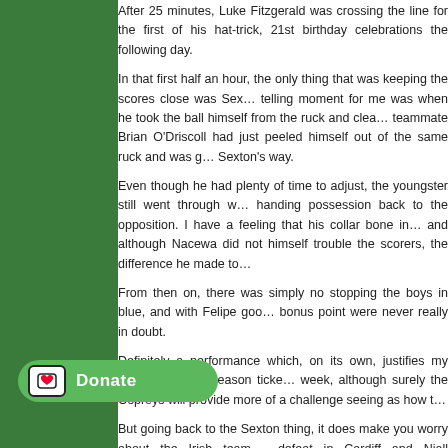After 25 minutes, Luke Fitzgerald was crossing the line for the first of his hat-trick, which would put a dampener on his 21st birthday celebrations the following day.
In that first half an hour, the only thing that was keeping the scores close was Sexton... telling moment for me was when he took the ball himself from the ruck and clea... teammate Brian O'Driscoll had just peeled himself out of the same ruck and was g... Sexton's way.
Even though he had plenty of time to adjust, the youngster still went through w... handing possession back to the opposition. I have a feeling that his collar bone in... and although Nacewa did not himself trouble the scorers, the difference he made to...
From then on, there was simply no stopping the boys in blue, and with Felipe goo... bonus point were never really in doubt.
Definitely a performance which, on its own, justifies my investment in a season ticke... week, although surely the Ospreys will provide more of a challenge seeing as how t...
But going back to the Sexton thing, it does make you worry about the Irish team,... defeat in Cardiff and Niall O'Connor's ineffectiveness. Just how screwed are w... injured/retires?
ind something negative in a 52-6 thrashing, but there you go!!!
for an excellent account of the game plus the current state of I...